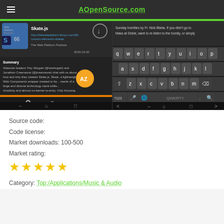AOpenSource.com
[Figure (screenshot): Two Android app screenshots side by side. Left: a podcast app showing Skate.js episode from The Web Platform Podcast with playback controls and a 'New eBook - How to build a Mi...' notification bar. Right: an on-screen QWERTY keyboard with autocomplete bar.]
Source code:
Code license:
Market downloads: 100-500
Market rating:
[Figure (other): Four and a half gold stars rating]
Category: Top:/Applications/Music & Audio